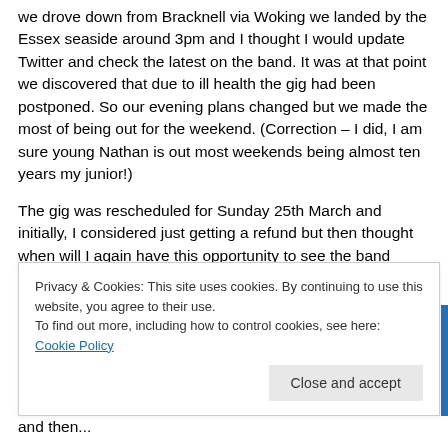we drove down from Bracknell via Woking we landed by the Essex seaside around 3pm and I thought I would update Twitter and check the latest on the band. It was at that point we discovered that due to ill health the gig had been postponed. So our evening plans changed but we made the most of being out for the weekend. (Correction – I did, I am sure young Nathan is out most weekends being almost ten years my junior!)
The gig was rescheduled for Sunday 25th March and initially, I considered just getting a refund but then thought when will I again have this opportunity to see the band perform live in such intimate surroundings. Another option was to give my ticket away to Nathan's sister Kath (who was interested in attending in my place). Eventually, we decided upon a third option. Nathan would drive down early evening, we would go to the gig and turn around
Privacy & Cookies: This site uses cookies. By continuing to use this website, you agree to their use.
To find out more, including how to control cookies, see here: Cookie Policy
Close and accept
and then...